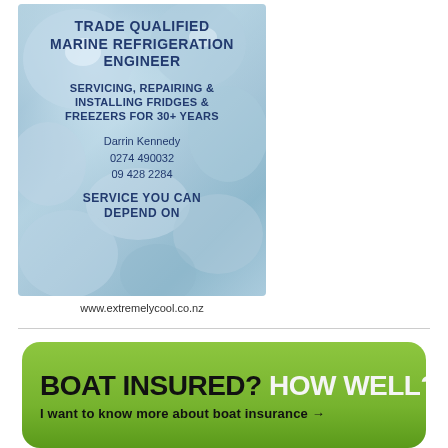[Figure (illustration): Advertisement for marine refrigeration engineer with ice background. Text reads: TRADE QUALIFIED MARINE REFRIGERATION ENGINEER. SERVICING, REPAIRING & INSTALLING FRIDGES & FREEZERS FOR 30+ YEARS. Darrin Kennedy, 0274 490032, 09 428 2284. SERVICE YOU CAN DEPEND ON.]
www.extremelycool.co.nz
[Figure (illustration): Green rounded rectangle advertisement with bold text: BOAT INSURED? HOW WELL? with partial text below.]